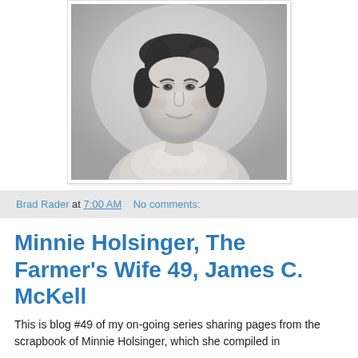[Figure (photo): Black and white portrait photograph of Minnie Holsinger, a middle-aged woman with dark hair pulled back, wearing a light-colored ruffled blouse with a pearl necklace, smiling slightly.]
Brad Rader at 7:00 AM   No comments:
Minnie Holsinger, The Farmer's Wife 49, James C. McKell
This is blog #49 of my on-going series sharing pages from the scrapbook of Minnie Holsinger, which she compiled in